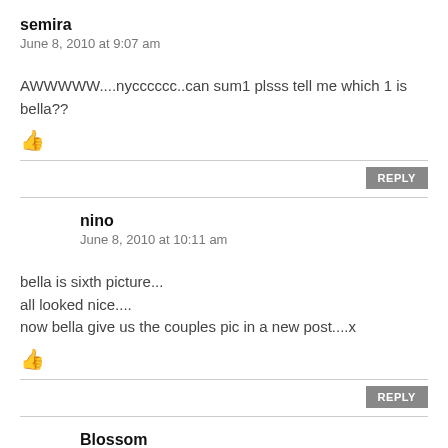semira
June 8, 2010 at 9:07 am
AWWWWW....nycccccc..can sum1 plsss tell me which 1 is bella??
REPLY
nino
June 8, 2010 at 10:11 am
bella is sixth picture...
all looked nice....
now bella give us the couples pic in a new post....x
REPLY
Blossom